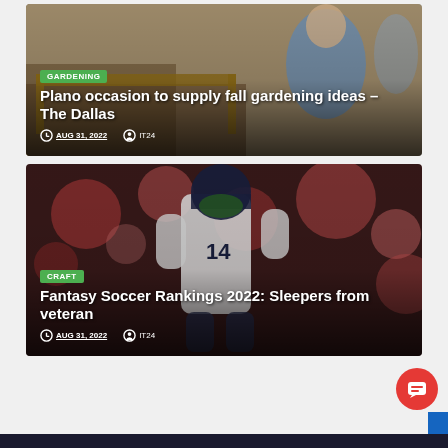[Figure (photo): Gardening scene showing raised garden beds with a person in a blue jacket in the background]
GARDENING
Plano occasion to supply fall gardening ideas – The Dallas
AUG 31, 2022  IT24
[Figure (photo): American football player in Seattle Seahawks uniform number 14 running with the ball against a red bokeh crowd background]
CRAFT
Fantasy Soccer Rankings 2022: Sleepers from veteran
AUG 31, 2022  IT24